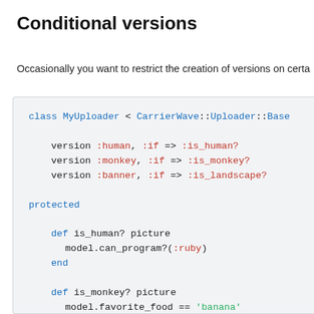Conditional versions
Occasionally you want to restrict the creation of versions on certa
[Figure (screenshot): Ruby code block showing a MyUploader class with conditional versions using :human, :monkey, :banner with :if conditions, and protected methods is_human?, is_monkey?, is_landscape?]